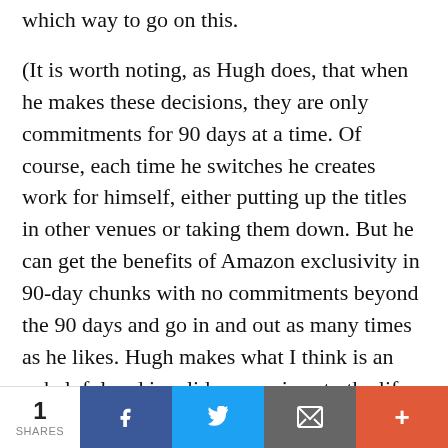which way to go on this.
(It is worth noting, as Hugh does, that when he makes these decisions, they are only commitments for 90 days at a time. Of course, each time he switches he creates work for himself, either putting up the titles in other venues or taking them down. But he can get the benefits of Amazon exclusivity in 90-day chunks with no commitments beyond the 90 days and go in and out as many times as he likes. Hugh makes what I think is an unhelpful and invalid comparison to the life-of-copyright deals publishers ask for in return
1 SHARES  [Facebook] [Twitter] [Email] [More]